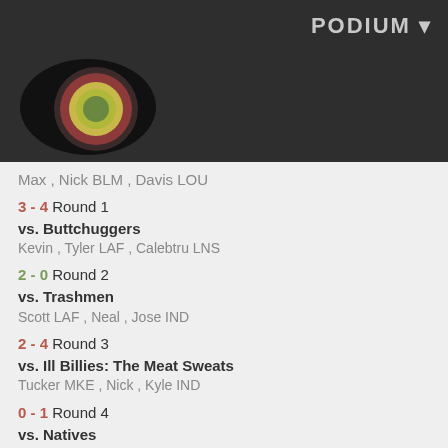PODIUM ▾
[Figure (logo): Circular logo with concentric rings: dark outer ring, dark red ring, yellow ring, green center circle on black oval background]
Max , Nick BLM , Davis LOU
3 - 4 Round 1
vs. Buttchuggers
Kevin , Tyler LAF , Calebtru LNS
2 - 0 Round 2
vs. Trashmen
Scott LAF , Neal , Jose IND
2 - 4 Round 3
vs. Ill Billies: The Meat Sweats
Tucker MKE , Nick , Kyle IND
0 - 1 Round 4
vs. Natives
Stas CIN , Thomas IND , Travis CBUS
1 - 0 Round 5
vs. Frisky chocolate dolphins
Tyler , Tori , Daniel BLM
2 - 1 Winners Bracket Quarter-Final
vs. Doomington
Elizabeth , Zachary BLM , Em IND